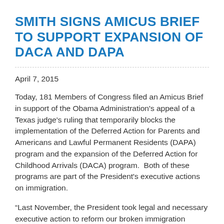SMITH SIGNS AMICUS BRIEF TO SUPPORT EXPANSION OF DACA AND DAPA
April 7, 2015
Today, 181 Members of Congress filed an Amicus Brief in support of the Obama Administration's appeal of a Texas judge's ruling that temporarily blocks the implementation of the Deferred Action for Parents and Americans and Lawful Permanent Residents (DAPA) program and the expansion of the Deferred Action for Childhood Arrivals (DACA) program.  Both of these programs are part of the President's executive actions on immigration.
“Last November, the President took legal and necessary executive action to reform our broken immigration system.” said Congressman Adam